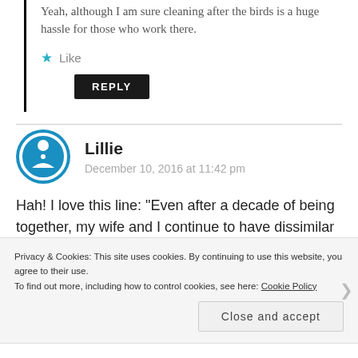Yeah, although I am sure cleaning after the birds is a huge hassle for those who work there.
Like
REPLY
Lillie
December 10, 2016 at 11:42 pm
Hah! I love this line: “Even after a decade of being together, my wife and I continue to have dissimilar tastes.” So sweet! My husband and I are similar
Privacy & Cookies: This site uses cookies. By continuing to use this website, you agree to their use.
To find out more, including how to control cookies, see here: Cookie Policy
Close and accept